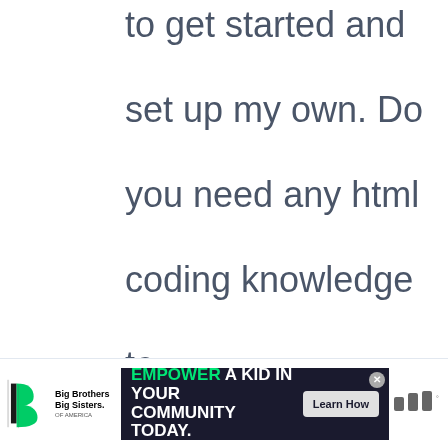to get started and set up my own. Do you need any html coding knowledge to make your own blog? Any help would be really appreciated!
[Figure (other): Advertisement banner: Big Brothers Big Sisters logo on the left, dark blue ad panel reading 'EMPOWER A KID IN YOUR COMMUNITY TODAY.' with a 'Learn How' button, and a small logo on the right.]